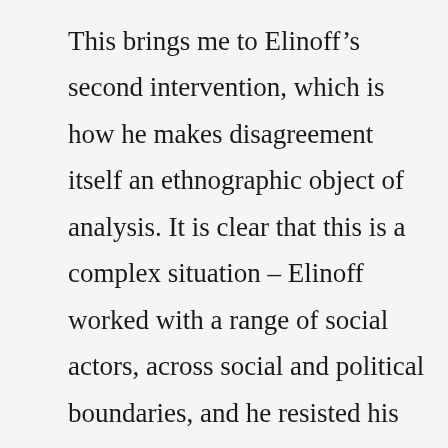This brings me to Elinoff’s second intervention, which is how he makes disagreement itself an ethnographic object of analysis. It is clear that this is a complex situation – Elinoff worked with a range of social actors, across social and political boundaries, and he resisted his participants’ efforts to get him to “take a side.” The groups and people he worked with didn’t always like one another and often disagreed on issues such as what should be done regarding those living in railway settlements, what it means to participate in urban planning, and what it means to engage in politics. Elinoff does not try to untangle or explain these disagreements for his readers. Instead, for Elinoff, disagreement is a technique of knowing, of governance and control, of community-making, and of possibility.